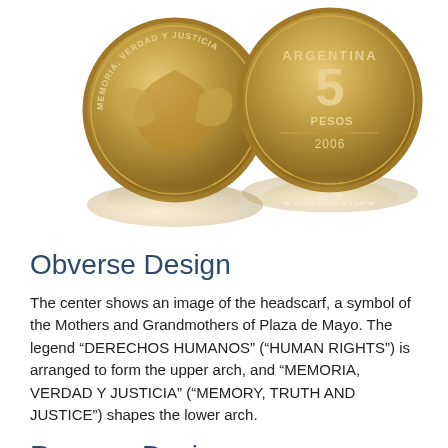[Figure (photo): Two Argentine commemorative coins showing obverse and reverse sides. The left coin shows a headscarf design with text 'MEMORIA, VERDAD Y JUSTICIA' around the edge. The right coin shows 'ARGENTINA 5 PESOS 2006' on the reverse. Both are gold/bronze colored with reflections visible below.]
Obverse Design
The center shows an image of the headscarf, a symbol of the Mothers and Grandmothers of Plaza de Mayo. The legend “DERECHOS HUMANOS” (“HUMAN RIGHTS”) is arranged to form the upper arch, and “MEMORIA, VERDAD Y JUSTICIA” (“MEMORY, TRUTH AND JUSTICE”) shapes the lower arch.
Reverse Design
The upper part reads “REPUBLICA ARGENTINA” (“ARGENTINE REPUBLIC”), then the face value “5” and the word “PESOS”. The exergue reads the year of